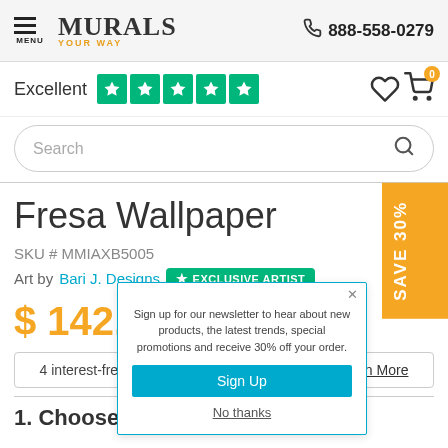MURALS YOUR WAY | 888-558-0279 | MENU
Excellent ★★★★★
Search
Fresa Wallpaper
SKU # MMIAXB5005
Art by Bari J. Designs EXCLUSIVE ARTIST
$ 142.19  $ 218.75
4 interest-free payments of $35.54 with Klarna. Learn More
1. Choose
Sign up for our newsletter to hear about new products, the latest trends, special promotions and receive 30% off your order.
Sign Up
No thanks
[Figure (infographic): SAVE 30% orange vertical badge on right side]